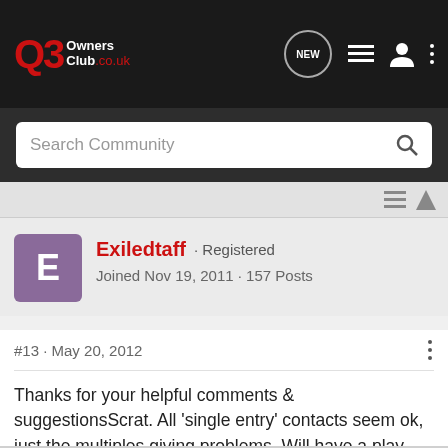Q3 Owners Club .co.uk
Search Community
Exiledtaff · Registered
Joined Nov 19, 2011 · 157 Posts
#13 · May 20, 2012
Thanks for your helpful comments & suggestionsScrat. All 'single entry' contacts seem ok, just the multiples giving problems. Will have a play tomorrow or Tues and see what I can come up with. Had you updated the firmware out of interest?